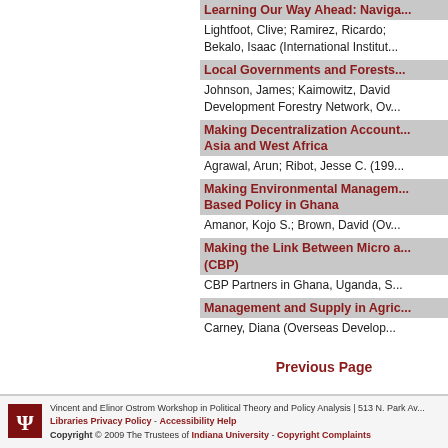Learning Our Way Ahead: Naviga... | Lightfoot, Clive; Ramirez, Ricardo; Bekalo, Isaac (International Institut...
Local Governments and Forests... | Johnson, James; Kaimowitz, David | Development Forestry Network, Ov...
Making Decentralization Account... Asia and West Africa | Agrawal, Arun; Ribot, Jesse C. (199...
Making Environmental Managem... Based Policy in Ghana | Amanor, Kojo S.; Brown, David (Ov...
Making the Link Between Micro a... (CBP) | CBP Partners in Ghana, Uganda, S...
Management and Supply in Agric... | Carney, Diana (Overseas Develop...
Previous Page
Vincent and Elinor Ostrom Workshop in Political Theory and Policy Analysis | 513 N. Park Av... Libraries Privacy Policy - Accessibility Help Copyright © 2009 The Trustees of Indiana University - Copyright Complaints